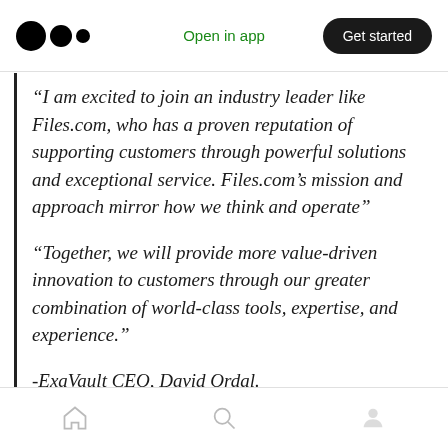Open in app  Get started
“I am excited to join an industry leader like Files.com, who has a proven reputation of supporting customers through powerful solutions and exceptional service. Files.com’s mission and approach mirror how we think and operate”
“Together, we will provide more value-driven innovation to customers through our greater combination of world-class tools, expertise, and experience.”
-ExaVault CEO, David Ordal.
David will continue to play an essential role in